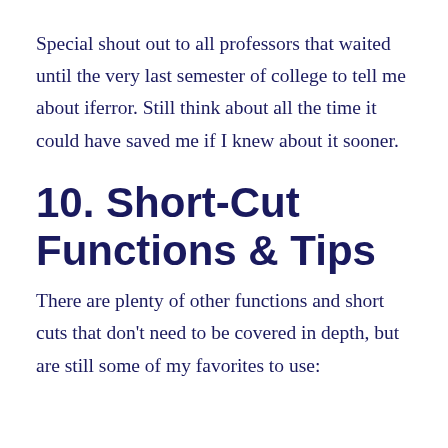Special shout out to all professors that waited until the very last semester of college to tell me about iferror. Still think about all the time it could have saved me if I knew about it sooner.
10. Short-Cut Functions & Tips
There are plenty of other functions and short cuts that don't need to be covered in depth, but are still some of my favorites to use: